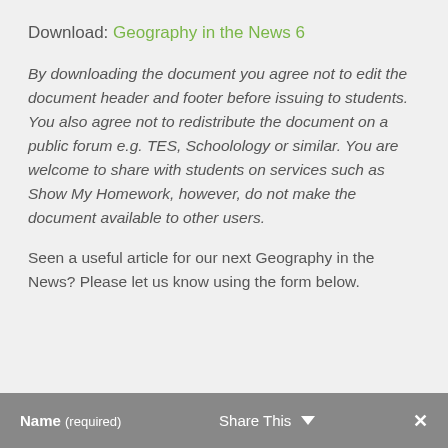Download: Geography in the News 6
By downloading the document you agree not to edit the document header and footer before issuing to students. You also agree not to redistribute the document on a public forum e.g. TES, Schoolology or similar. You are welcome to share with students on services such as Show My Homework, however, do not make the document available to other users.
Seen a useful article for our next Geography in the News? Please let us know using the form below.
Name (required)   Share This   ×